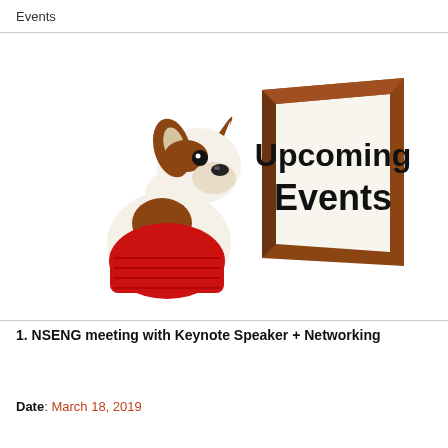Events
[Figure (photo): A small Chihuahua dog wearing a red sweater, looking at a brown-framed sign that reads 'Upcoming Events' in bold black text on a white background.]
1. NSENG meeting with Keynote Speaker + Networking
Date: March 18, 2019